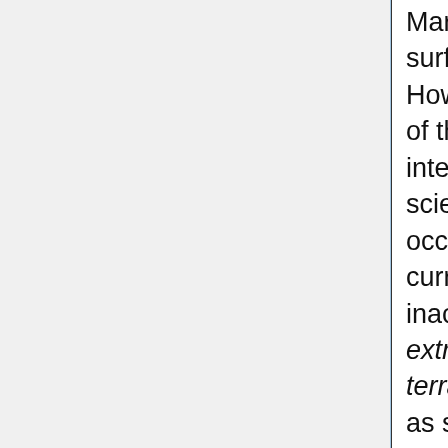Martian surface. However, some of the most interesting science targets occur in the currently inaccessible extreme terrains, such as steep craters, overhangs, loose soil, and layered stratigraphy. Access to